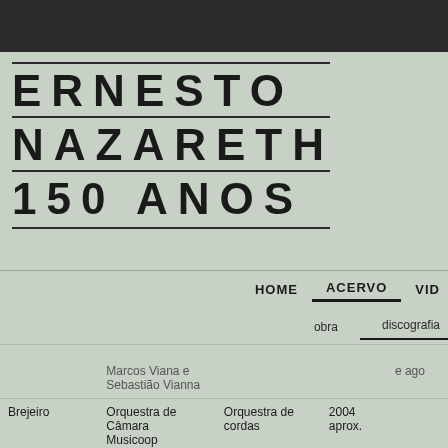ERNESTO NAZARETH 150 ANOS
HOME  ACERVO  VID
obra  discografia
|  | Intérprete | Instrumento | Ano |  |
| --- | --- | --- | --- | --- |
|  | Marcos Viana e Sebastião Vianna |  |  | e ago |
| Brejeiro | Orquestra de Câmara Musicoop | Orquestra de cordas | 2004 aprox. |  |
| Confidências | Maria Teresa Madeira | Piano solo | 2003 | 2002 e ago |